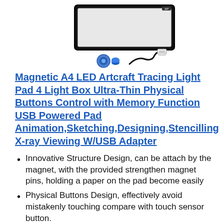[Figure (photo): Product photo of a Magnetic A4 LED Artcraft Tracing Light Pad with accessories including magnet pins and USB cable]
Magnetic A4 LED Artcraft Tracing Light Pad 4 Light Box Ultra-Thin Physical Buttons Control with Memory Function USB Powered Pad Animation,Sketching,Designing,Stencilling X-ray Viewing W/USB Adapter
Innovative Structure Design, can be attach by the magnet, with the provided strengthen magnet pins, holding a paper on the pad become easily
Physical Buttons Design, effectively avoid mistakenly touching compare with touch sensor button.
Power supply by USB cable , convenience to access to any USB port like computer